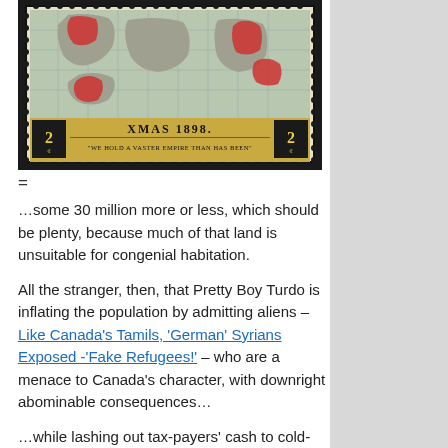[Figure (photo): A Canadian postage stamp from 1898 showing a world map with British Empire territories highlighted in red. The stamp reads 'XMAS 1898.' and '"WE HOLD A VASTER EMPIRE THAN HAS BEEN"' with a 2-cent denomination on each side.]
=
…some 30 million more or less, which should be plenty, because much of that land is unsuitable for congenial habitation.
All the stranger, then, that Pretty Boy Turdo is inflating the population by admitting aliens – Like Canada's Tamils, 'German' Syrians Exposed -'Fake Refugees!' – who are a menace to Canada's character, with downright abominable consequences…
…while lashing out tax-payers' cash to cold-blooded sectarian killers…
=